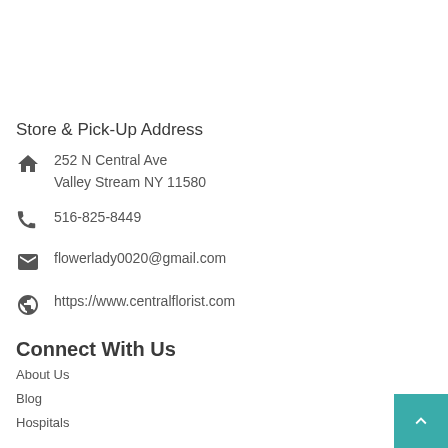Store & Pick-Up Address
252 N Central Ave
Valley Stream NY 11580
516-825-8449
flowerlady0020@gmail.com
https://www.centralflorist.com
Connect With Us
About Us
Blog
Hospitals